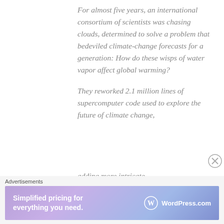For almost five years, an international consortium of scientists was chasing clouds, determined to solve a problem that bedeviled climate-change forecasts for a generation: How do these wisps of water vapor affect global warming?
They reworked 2.1 million lines of supercomputer code used to explore the future of climate change, adding more intricate...
Advertisements
[Figure (other): WordPress.com advertisement banner: 'Simplified pricing for everything you need.' with WordPress.com logo on gradient purple-blue background.]